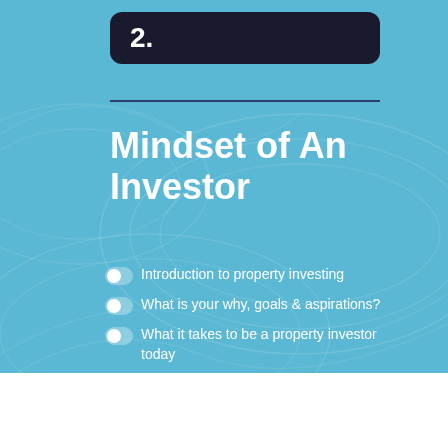2.
Mindset of An Investor
Introduction to property investing
What is your why, goals & aspirations?
What it takes to be a property investor today